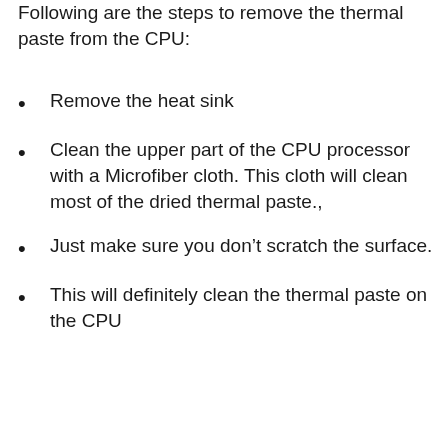Following are the steps to remove the thermal paste from the CPU:
Remove the heat sink
Clean the upper part of the CPU processor with a Microfiber cloth. This cloth will clean most of the dried thermal paste.,
Just make sure you don’t scratch the surface.
This will definitely clean the thermal paste on the CPU